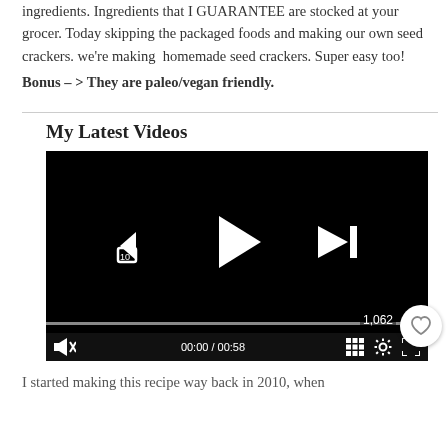ingredients. Ingredients that I GUARANTEE are stocked at your grocer. Today skipping the packaged foods and making our own seed crackers. we're making homemade seed crackers. Super easy too! Bonus – > They are paleo/vegan friendly.
My Latest Videos
[Figure (screenshot): Video player showing a recipe video with play button, rewind 10s button, and next button. Time shows 00:00 / 00:58. View count 1,062 and heart/like button visible.]
I started making this recipe way back in 2010, when